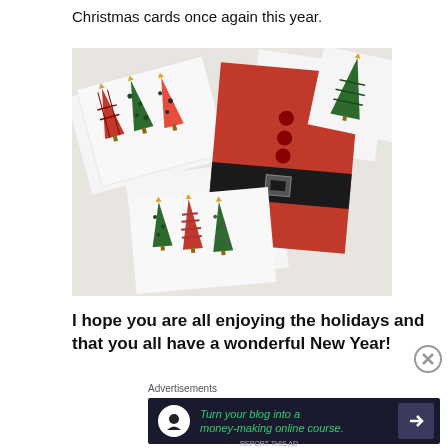Christmas cards once again this year.
[Figure (photo): Handmade Christmas cards spread out on a white surface, featuring holiday tree designs in red and green patterns and a Santa Claus card with red and black suit design.]
I hope you are all enjoying the holidays and that you all have a wonderful New Year!
Advertisements
[Figure (infographic): Dark advertisement banner: Turn your blog into a money-making online course.]